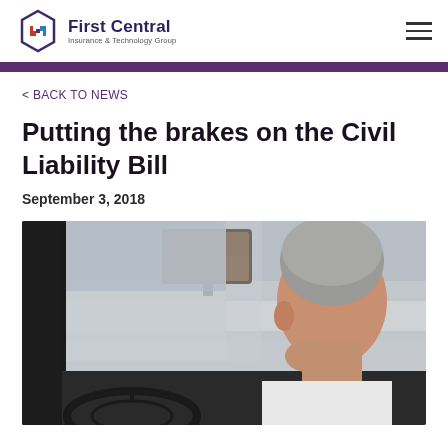First Central Insurance & Technology Group
< BACK TO NEWS
Putting the brakes on the Civil Liability Bill
September 3, 2018
[Figure (photo): Elderly man viewed from behind sitting in driver's seat of a car, holding steering wheel, with rear-view mirror visible]